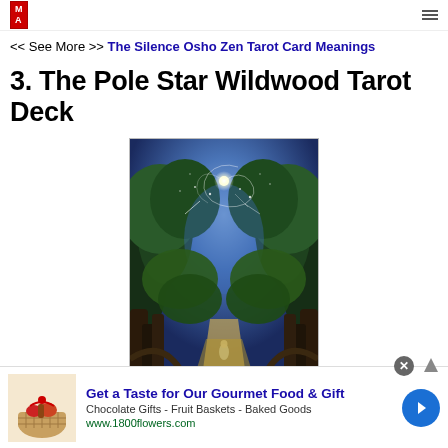<< See More >> The Silence Osho Zen Tarot Card Meanings
3. The Pole Star Wildwood Tarot Deck
[Figure (illustration): Wildwood Tarot card illustration showing a figure standing in a forest path at night, with tall ancient trees forming a canopy overhead and a bright star/moon shining in the center of a starry blue sky above.]
Get a Taste for Our Gourmet Food & Gift
Chocolate Gifts - Fruit Baskets - Baked Goods
www.1800flowers.com